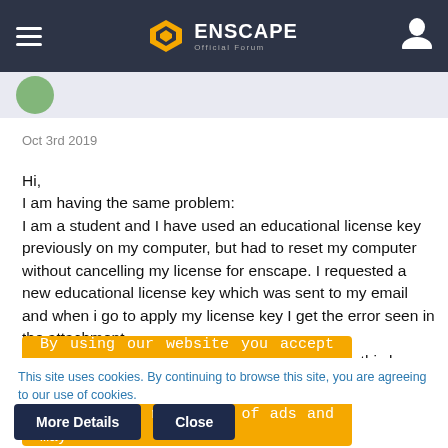Enscape Official Forum
Oct 3rd 2019
Hi,
I am having the same problem:
I am a student and I have used an educational license key previously on my computer, but had to reset my computer without cancelling my license for enscape. I requested a new educational license key which was sent to my email and when i go to apply my license key I get the error seen in the attachment.
Why can I not apply my license key and how can this be fixed?
[Figure (screenshot): Orange cookie consent overlay banner with white text: 'By using our website you accept that we use cookies to track usage and improve the relevancy of ads and may...']
This site uses cookies. By continuing to browse this site, you are agreeing to our use of cookies.
More Details   Close